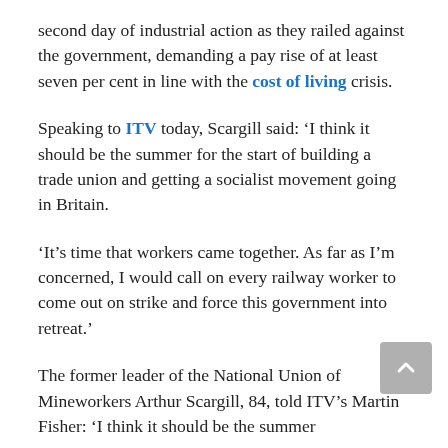second day of industrial action as they railed against the government, demanding a pay rise of at least seven per cent in line with the cost of living crisis.
Speaking to ITV today, Scargill said: ‘I think it should be the summer for the start of building a trade union and getting a socialist movement going in Britain.
‘It’s time that workers came together. As far as I’m concerned, I would call on every railway worker to come out on strike and force this government into retreat.’
The former leader of the National Union of Mineworkers Arthur Scargill, 84, told ITV’s Martin Fisher: ‘I think it should be the summer